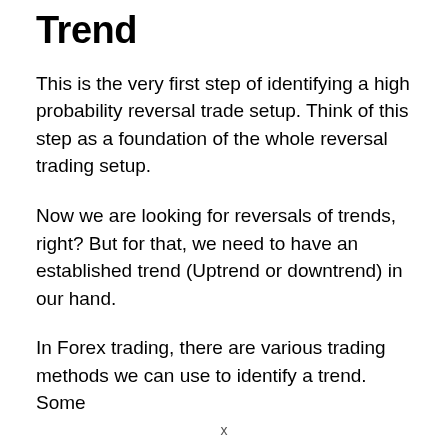Trend
This is the very first step of identifying a high probability reversal trade setup. Think of this step as a foundation of the whole reversal trading setup.
Now we are looking for reversals of trends, right? But for that, we need to have an established trend (Uptrend or downtrend) in our hand.
In Forex trading, there are various trading methods we can use to identify a trend. Some